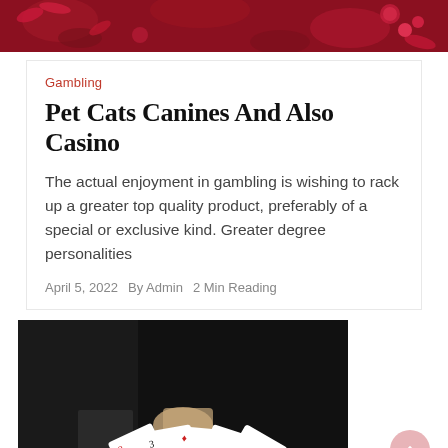[Figure (photo): Red decorative background with floral or cherry motifs at top of page]
Gambling
Pet Cats Canines And Also Casino
The actual enjoyment in gambling is wishing to rack up a greater top quality product, preferably of a special or exclusive kind. Greater degree personalities
April 5, 2022   By Admin   2 Min Reading
[Figure (photo): Dark photograph showing a person in a suit dealing or flipping playing cards including a 3 of diamonds and other cards]